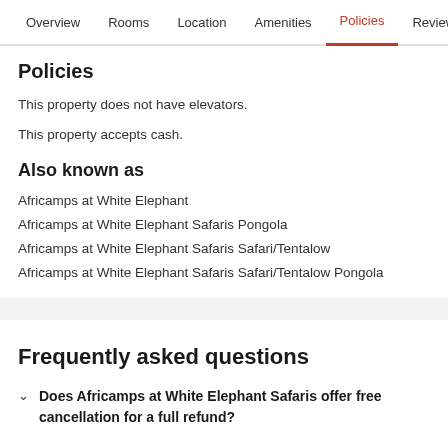Overview  Rooms  Location  Amenities  Policies  Reviews
Policies
This property does not have elevators.
This property accepts cash.
Also known as
Africamps at White Elephant
Africamps at White Elephant Safaris Pongola
Africamps at White Elephant Safaris Safari/Tentalow
Africamps at White Elephant Safaris Safari/Tentalow Pongola
Frequently asked questions
Does Africamps at White Elephant Safaris offer free cancellation for a full refund?